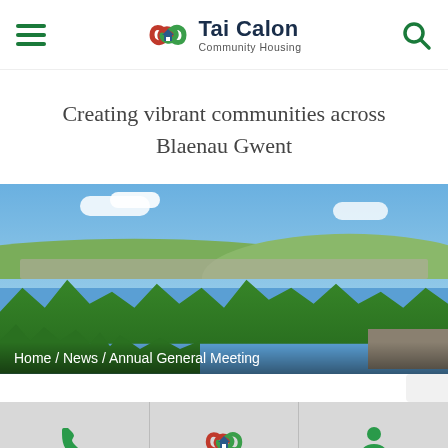[Figure (logo): Tai Calon Community Housing logo with green/red swirl and house icon, plus hamburger menu and search icon in header]
Creating vibrant communities across Blaenau Gwent
[Figure (photo): Landscape photo of a Welsh town (Blaenau Gwent) with green hills, blue sky with clouds, trees, and residential buildings in the distance. Breadcrumb reads: Home / News / Annual General Meeting]
[Figure (infographic): Bottom navigation bar with three icons: phone/call icon, Tai Calon logo icon, and user/person icon, on a grey background]